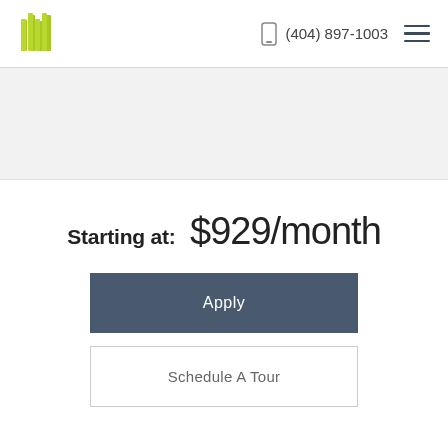(404) 897-1003
[Figure (photo): Gray placeholder image area below the navigation header]
Starting at:  $929/month
Apply
Schedule A Tour